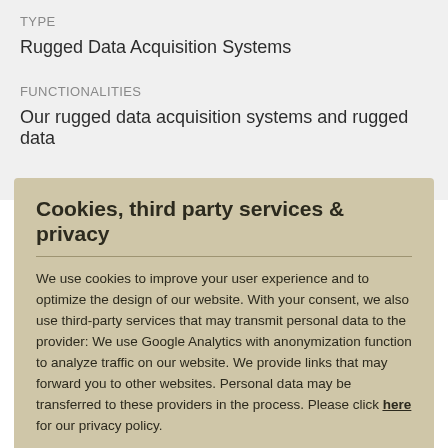TYPE
Rugged Data Acquisition Systems
FUNCTIONALITIES
Our rugged data acquisition systems and rugged data
Cookies, third party services & privacy
We use cookies to improve your user experience and to optimize the design of our website. With your consent, we also use third-party services that may transmit personal data to the provider: We use Google Analytics with anonymization function to analyze traffic on our website. We provide links that may forward you to other websites. Personal data may be transferred to these providers in the process. Please click here for our privacy policy.
Customize
Accept all